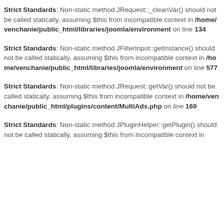Strict Standards: Non-static method JRequest::_cleanVar() should not be called statically, assuming $this from incompatible context in /home/venchanie/public_html/libraries/joomla/environment on line 134
Strict Standards: Non-static method JFilterInput::getInstance() should not be called statically, assuming $this from incompatible context in /home/venchanie/public_html/libraries/joomla/environment on line 577
Strict Standards: Non-static method JRequest::getVar() should not be called statically, assuming $this from incompatible context in /home/venchanie/public_html/plugins/content/MultiAds.php on line 169
Strict Standards: Non-static method JPluginHelper::getPlugin() should not be called statically, assuming $this from incompatible context in